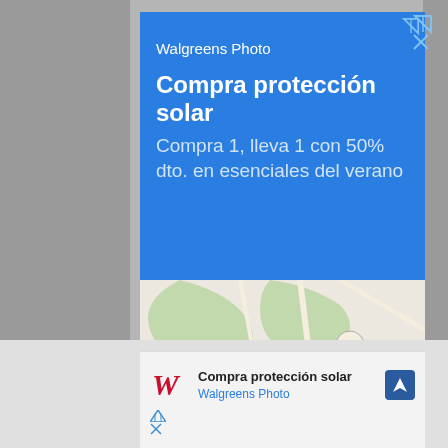[Figure (screenshot): Google Maps advertisement for Walgreens Photo showing a blue ad panel with text 'Walgreens Photo - Compra protección solar - Compra 1, lleva 1 con 50% dto. en esenciales del verano', below which is a Google Maps view with a location pin, and at the bottom a smaller ad strip with Walgreens logo and navigation icon]
Walgreens Photo
Compra protección solar
Compra 1, lleva 1 con 50% dto. en esenciales del verano
Compra protección solar
Walgreens Photo